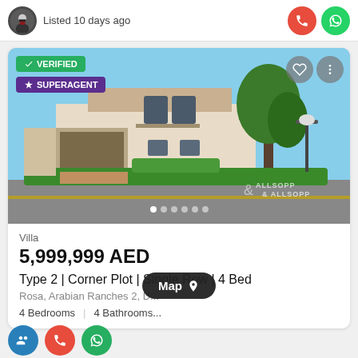Listed 10 days ago
[Figure (photo): Exterior photo of a villa with white/beige facade, arched windows, garage, lush green hedges and trees, blue sky. Watermark: ALLSOPP & ALLSOPP. Badges: VERIFIED, SUPERAGENT. Image carousel dots shown at bottom.]
Villa
5,999,999 AED
Type 2 | Corner Plot | Single Row | 4 Bed
Rosa, Arabian Ranches 2, D...
4 Bedrooms | 4 Bathrooms